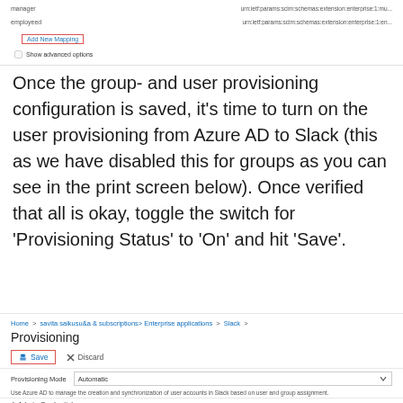[Figure (screenshot): Azure AD attribute mapping UI showing manager and employee rows with 'Add New Mapping' button highlighted in red border, and 'Show advanced options' checkbox]
Once the group- and user provisioning configuration is saved, it's time to turn on the user provisioning from Azure AD to Slack (this as we have disabled this for groups as you can see in the print screen below). Once verified that all is okay, toggle the switch for 'Provisioning Status' to 'On' and hit 'Save'.
[Figure (screenshot): Azure portal Provisioning page for Slack enterprise application showing breadcrumb navigation (Home > [admin] > Enterprise applications > Slack), Provisioning heading, Save button highlighted in red border, Discard button, Provisioning Mode set to Automatic, description text about Azure AD managing user accounts, and Admin Credentials section header]